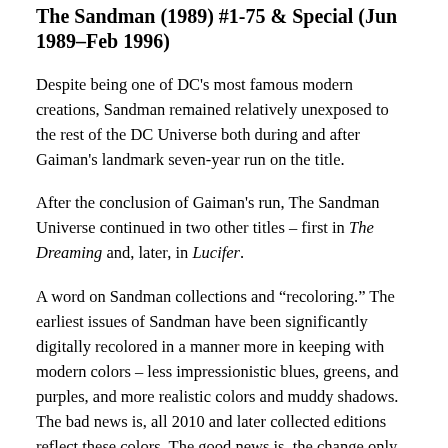The Sandman (1989) #1-75 & Special (Jun 1989–Feb 1996)
Despite being one of DC's most famous modern creations, Sandman remained relatively unexposed to the rest of the DC Universe both during and after Gaiman's landmark seven-year run on the title.
After the conclusion of Gaiman's run, The Sandman Universe continued in two other titles – first in The Dreaming and, later, in Lucifer.
A word on Sandman collections and "recoloring." The earliest issues of Sandman have been significantly digitally recolored in a manner more in keeping with modern colors – less impressionistic blues, greens, and purples, and more realistic colors and muddy shadows. The bad news is, all 2010 and later collected editions reflect these colors. The good news is, the change only affects the earliest issues, and the style of the colors still